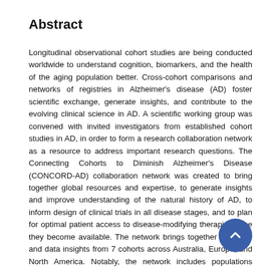Abstract
Longitudinal observational cohort studies are being conducted worldwide to understand cognition, biomarkers, and the health of the aging population better. Cross-cohort comparisons and networks of registries in Alzheimer's disease (AD) foster scientific exchange, generate insights, and contribute to the evolving clinical science in AD. A scientific working group was convened with invited investigators from established cohort studies in AD, in order to form a research collaboration network as a resource to address important research questions. The Connecting Cohorts to Diminish Alzheimer's Disease (CONCORD-AD) collaboration network was created to bring together global resources and expertise, to generate insights and improve understanding of the natural history of AD, to inform design of clinical trials in all disease stages, and to plan for optimal patient access to disease-modifying therapies once they become available. The network brings together expertise and data insights from 7 cohorts across Australia, Europe, and North America. Notably, the network includes populations recruited through memory clinics as well as population-based cohorts, representing observations from individuals across the